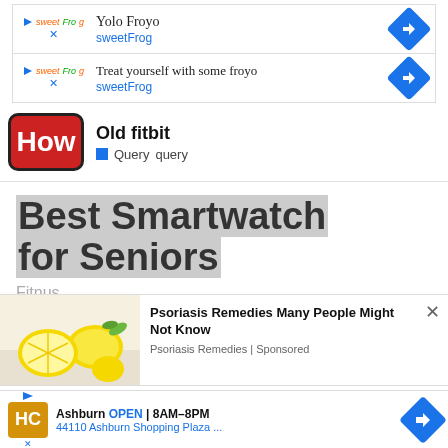[Figure (screenshot): sweetFrog ad row: Yolo Froyo]
[Figure (screenshot): sweetFrog ad row: Treat yourself with some froyo]
[Figure (screenshot): HowStuffWorks logo with Old fitbit query]
Best Smartwatch for Seniors
Fitnus
[Figure (screenshot): Psoriasis Remedies Many People Might Not Know - overlay ad with lemon image]
[Figure (screenshot): Ashburn OPEN 8AM-8PM 44110 Ashburn Shopping Plaza ... bottom ad]